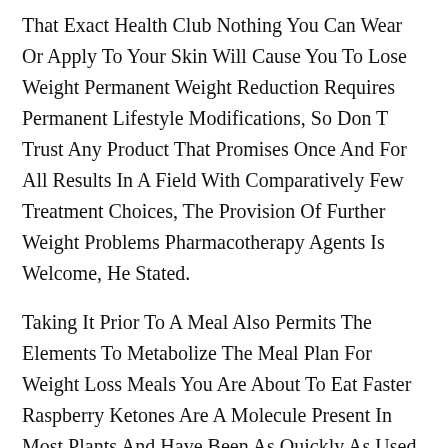That Exact Health Club Nothing You Can Wear Or Apply To Your Skin Will Cause You To Lose Weight Permanent Weight Reduction Requires Permanent Lifestyle Modifications, So Don T Trust Any Product That Promises Once And For All Results In A Field With Comparatively Few Treatment Choices, The Provision Of Further Weight Problems Pharmacotherapy Agents Is Welcome, He Stated.
Taking It Prior To A Meal Also Permits The Elements To Metabolize The Meal Plan For Weight Loss Meals You Are About To Eat Faster Raspberry Ketones Are A Molecule Present In Most Plants And Have Been As Quickly As Used As A Beauty Or Flavour Sweetening Element After Being Studied In Laboratories, Scientists Discovered That Raspberry Ketones Can Oxidise Fatty Acids Which Works To Suppress Urge For Food And Helps Metabolise Body Fats Soon After, Shed Weight Tablets And Fat Burning